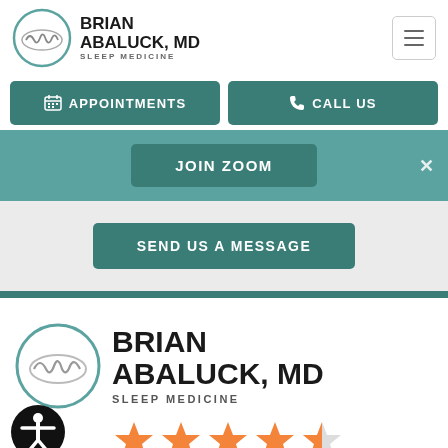[Figure (logo): Brian Abaluck MD Sleep Medicine logo - circle with wave/EEG line graphic and doctor name]
BRIAN ABALUCK, MD
SLEEP MEDICINE
APPOINTMENTS
CALL US
JOIN ZOOM
SEND US A MESSAGE
[Figure (logo): Brian Abaluck MD Sleep Medicine logo large - circle with wave/EEG line graphic]
BRIAN ABALUCK, MD
SLEEP MEDICINE
[Figure (illustration): Accessibility icon - person with arms raised in circle]
[Figure (illustration): Star rating - approximately 4.5 out of 5 stars in orange]